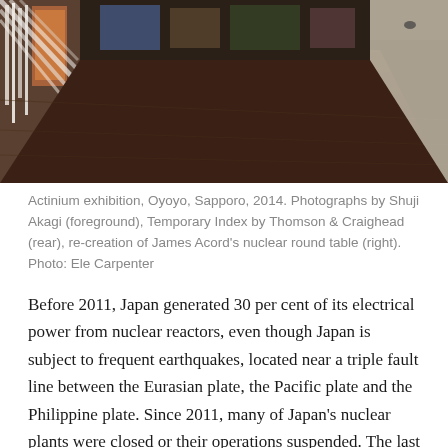[Figure (photo): Interior hallway/corridor of an art exhibition space with wooden floor visible at center, artworks on left wall, and a pale wall on right. Photo appears to show an exhibition room with photographs displayed.]
Actinium exhibition, Oyoyo, Sapporo, 2014. Photographs by Shuji Akagi (foreground), Temporary Index by Thomson & Craighead (rear), re-creation of James Acord's nuclear round table (right). Photo: Ele Carpenter
Before 2011, Japan generated 30 per cent of its electrical power from nuclear reactors, even though Japan is subject to frequent earthquakes, located near a triple fault line between the Eurasian plate, the Pacific plate and the Philippine plate. Since 2011, many of Japan's nuclear plants were closed or their operations suspended. The last of Japan's fifty nuclear reactors (at Tomari in Hokkaido)